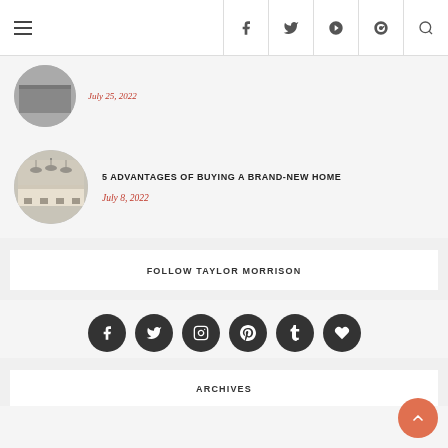Navigation bar with hamburger menu and social icons (f, twitter, pinterest, youtube, search)
[Figure (screenshot): Cropped article card showing a circular thumbnail (partially visible) and a red italic date 'July 25, 2022' below a title (cut off at top)]
5 ADVANTAGES OF BUYING A BRAND-NEW HOME
July 8, 2022
FOLLOW TAYLOR MORRISON
[Figure (infographic): Six dark circular social media icons: Facebook, Twitter, Instagram, Pinterest, Tumblr, Heart/Bloglovin]
ARCHIVES